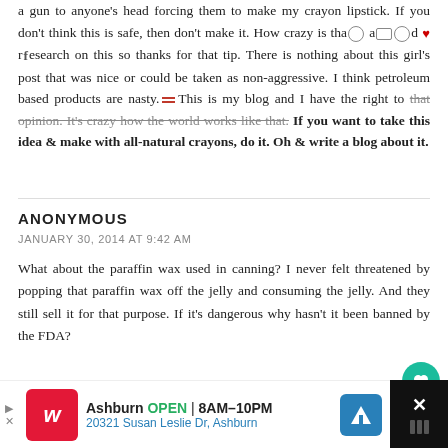a gun to anyone's head forcing them to make my crayon lipstick. If you don't think this is safe, then don't make it. How crazy is that actually did my research on this so thanks for that tip. There is nothing about this girl's post that was nice or could be taken as non-aggressive. I think petroleum based products are nasty. This is my blog and I have the right to that opinion. It's crazy how the world works like that. If you want to take this idea & make with all-natural crayons, do it. Oh & write a blog about it.
ANONYMOUS
JANUARY 30, 2014 AT 9:42 AM
What about the paraffin wax used in canning? I never felt threatened by popping that paraffin wax off the jelly and consuming the jelly. And they still sell it for that purpose. If it's dangerous why hasn't it been banned by the FDA?
UNKNOWN
MARCH 17, 2014 AT 12:51 AM